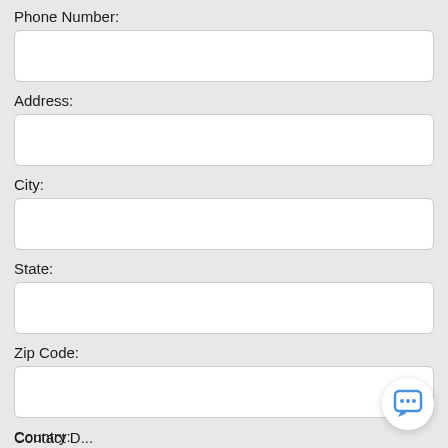Phone Number:
Address:
City:
State:
Zip Code:
Country:
[Figure (other): Chat support button icon in bottom right corner]